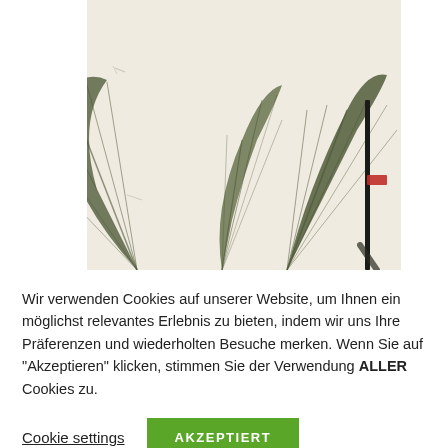[Figure (photo): A partially cropped photo showing large tropical green fan-shaped leaves (palm/elephant ear) at the bottom, against a pale creamy beige background. A dark vertical pole or stick is visible at the right edge. The image appears to be a nature/plant photograph with a vintage or soft-toned look.]
Wir verwenden Cookies auf unserer Website, um Ihnen ein möglichst relevantes Erlebnis zu bieten, indem wir uns Ihre Präferenzen und wiederholten Besuche merken. Wenn Sie auf "Akzeptieren" klicken, stimmen Sie der Verwendung ALLER Cookies zu.
Cookie settings
AKZEPTIERT